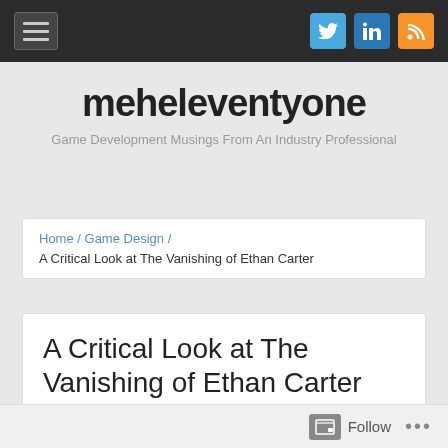meheleventyone — navigation bar with hamburger menu, Twitter, LinkedIn, RSS icons
meheleventyone
Game Development Musings From An Industry Professional
Home / Game Design / A Critical Look at The Vanishing of Ethan Carter
A Critical Look at The Vanishing of Ethan Carter
October 10, 2014 — Leave a comment
Follow ...